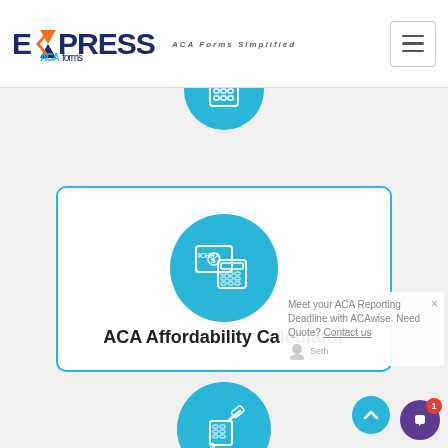[Figure (logo): Express ACA Forms logo with orange/blue X graphic and tagline 'ACA Forms Simplified']
[Figure (infographic): ACA Affordability Calculator card with blue circle icon containing calculator symbol]
ACA Affordability Calculator
[Figure (infographic): ICHRA Affordability Calculator card with large blue circle icon containing ICHRA calculator graphic]
ICHRA Affordability Calculator
Meet your ACA Reporting Deadline with ACAwise. Need Quote? Contact us
[Figure (infographic): Partial third calculator card with blue circle icon at bottom of page]